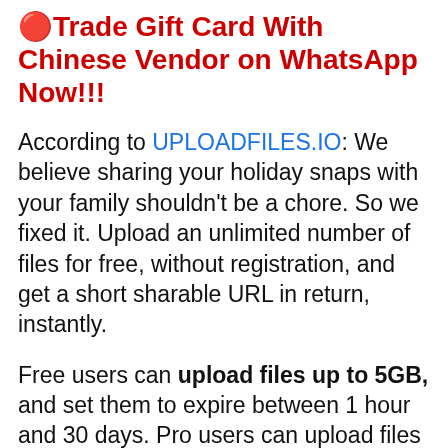🔴Trade Gift Card With Chinese Vendor on WhatsApp Now!!!
According to UPLOADFILES.IO: We believe sharing your holiday snaps with your family shouldn't be a chore. So we fixed it. Upload an unlimited number of files for free, without registration, and get a short sharable URL in return, instantly.
Free users can upload files up to 5GB, and set them to expire between 1 hour and 30 days. Pro users can upload files up to 50GB and store them forever.
Every month, more than 5 million people use Uploadfiles.io to quickly and securely store, organize and share all their personal and professional data in the cloud.